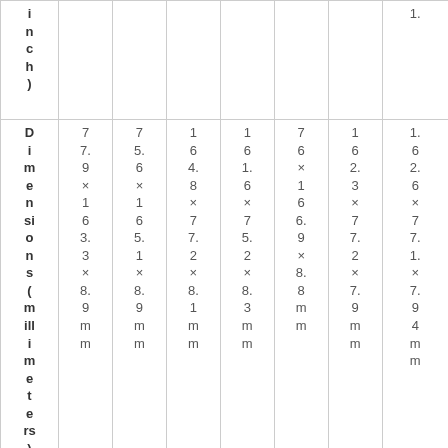|  |  |  |  |  |  |  |  |
| --- | --- | --- | --- | --- | --- | --- | --- |
| (inch) |  |  |  |  |  |  | 1. |
| Dimensions (millimeters) | 77.9×163.3×8.9mm | 75.6×165.1×8.9mm | 164.8×77.2×8.1mm | 161.6×75.2×8.3mm | 76×166.9×8.8mm | 162.3×77.2×7.9mm | 1.6 2.6×7.7.1×7.9 4mm |
| Weight | 8.07 | 8.07 | 7.33 | 6.84 | 7.76 | 6.91 | 6.9 8. |